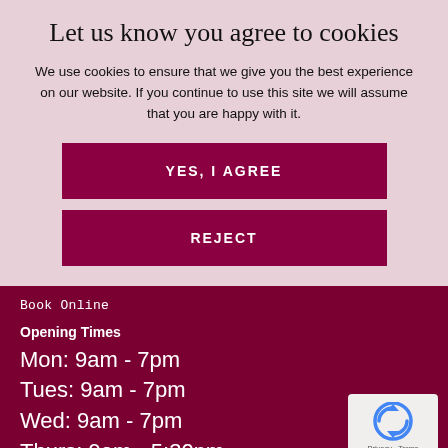Let us know you agree to cookies
We use cookies to ensure that we give you the best experience on our website. If you continue to use this site we will assume that you are happy with it.
YES, I AGREE
REJECT
Book Online
Opening Times
Mon: 9am - 7pm
Tues: 9am - 7pm
Wed: 9am - 7pm
Thurs: 9am - 5:30pm
[Figure (logo): reCAPTCHA badge with Privacy and Terms text]